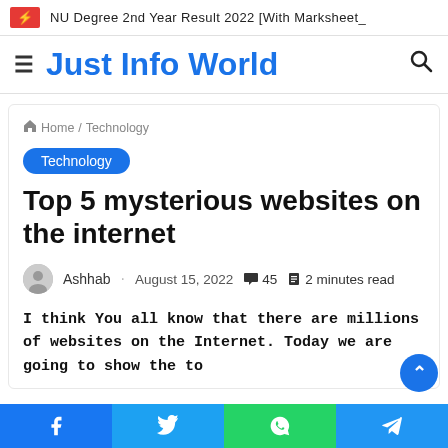NU Degree 2nd Year Result 2022 [With Marksheet_
Just Info World
Home / Technology
Technology
Top 5 mysterious websites on the internet
Ashhab · August 15, 2022 💬 45 🔖 2 minutes read
I think You all know that there are millions of websites on the Internet. Today we are going to show the to